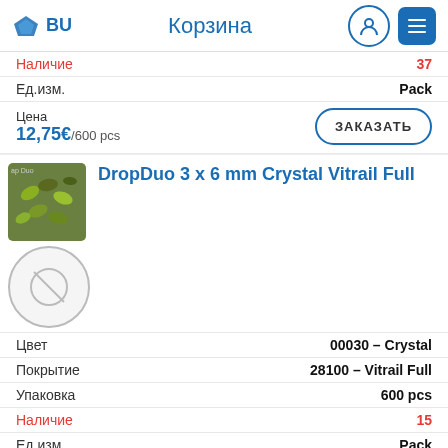BU  Корзина
Наличие  37
Ед.изм.  Pack
Цена  12,75€/600 pcs
ЗАКАЗАТЬ
DropDuo 3 x 6 mm Crystal Vitrail Full
Цвет  00030 - Crystal
Покрытие  28100 - Vitrail Full
Упаковка  600 pcs
Наличие  15
Ед.изм.  Pack
Цена  12,75€/600 pcs
ЗАКАЗАТЬ
DropDuo 3 x 6 mm Crystal Vitrail
Цвет  00030 - Crystal
Покрытие  28101 - Vitrail
Упаковка  600 pcs